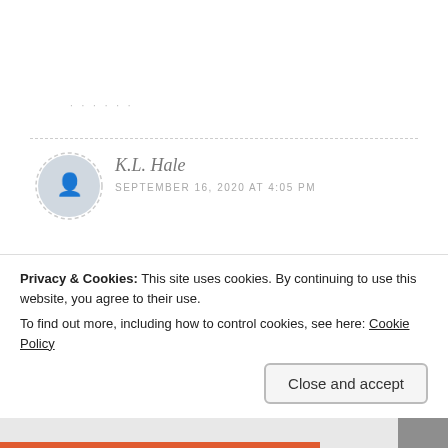· · · · ·
K.L. Hale
SEPTEMBER 16, 2020 AT 4:05 PM
What a beautiful post my friend. Gratitude is everything. I feel it my calling here on Earth to encourage and love those around me. It's been easy
Privacy & Cookies: This site uses cookies. By continuing to use this website, you agree to their use.
To find out more, including how to control cookies, see here: Cookie Policy
Close and accept